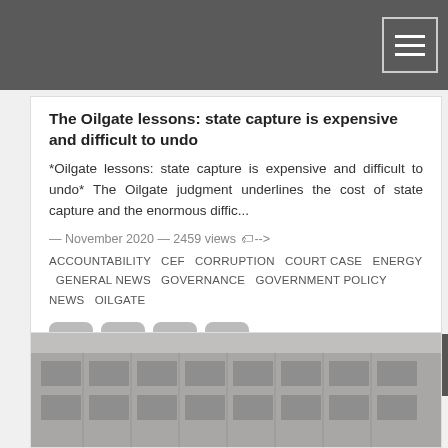Navigation header bar
The Oilgate lessons: state capture is expensive and difficult to undo
*Oilgate lessons: state capture is expensive and difficult to undo* The Oilgate judgment underlines the cost of state capture and the enormous diffic...
— November 2020 — 2459 views
ACCOUNTABILITY  CEF  CORRUPTION  COURT CASE  ENERGY  GENERAL NEWS  GOVERNANCE  GOVERNMENT POLICY  NEWS  OILGATE
[Figure (infographic): Social media icons: Twitter, Facebook, LinkedIn, Instagram]
[Figure (photo): Building facade photograph at bottom of page]